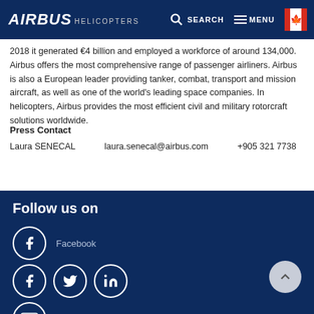Airbus Helicopters navigation bar with logo, search, menu, and flag icon
2018 it generated €4 billion and employed a workforce of around 134,000. Airbus offers the most comprehensive range of passenger airliners. Airbus is also a European leader providing tanker, combat, transport and mission aircraft, as well as one of the world's leading space companies. In helicopters, Airbus provides the most efficient civil and military rotorcraft solutions worldwide.
Press Contact
Laura SENECAL    laura.senecal@airbus.com    +905 321 7738
Follow us on
[Figure (other): Social media icons: Facebook, Twitter, LinkedIn, YouTube circles with labels]
Facebook
Youtube
Twitt...